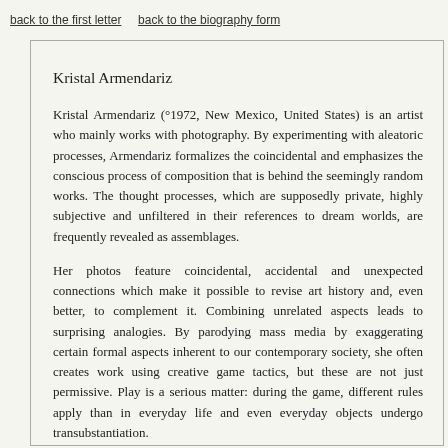back to the first letter    back to the biography form
Kristal Armendariz
Kristal Armendariz (°1972, New Mexico, United States) is an artist who mainly works with photography. By experimenting with aleatoric processes, Armendariz formalizes the coincidental and emphasizes the conscious process of composition that is behind the seemingly random works. The thought processes, which are supposedly private, highly subjective and unfiltered in their references to dream worlds, are frequently revealed as assemblages.
Her photos feature coincidental, accidental and unexpected connections which make it possible to revise art history and, even better, to complement it. Combining unrelated aspects leads to surprising analogies. By parodying mass media by exaggerating certain formal aspects inherent to our contemporary society, she often creates work using creative game tactics, but these are not just permissive. Play is a serious matter: during the game, different rules apply than in everyday life and even everyday objects undergo transubstantiation.
Her works are saturated with obviousness, mental inertia, clichés and bad jokes. They question the coerciveness that is derived from